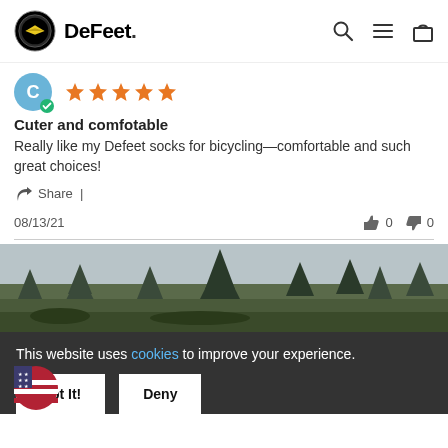DeFeet
[Figure (other): Reviewer avatar with verified badge and 5 orange stars]
Cuter and comfotable
Really like my Defeet socks for bicycling—comfortable and such great choices!
Share |
08/13/21   👍 0   👎 0
[Figure (photo): Outdoor nature photo showing trees and sky]
This website uses cookies to improve your experience.
Got It!   Deny